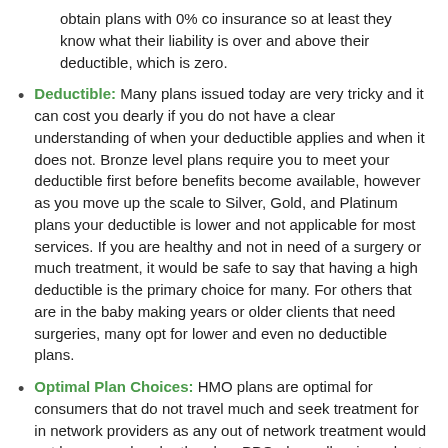obtain plans with 0% co insurance so at least they know what their liability is over and above their deductible, which is zero.
Deductible: Many plans issued today are very tricky and it can cost you dearly if you do not have a clear understanding of when your deductible applies and when it does not. Bronze level plans require you to meet your deductible first before benefits become available, however as you move up the scale to Silver, Gold, and Platinum plans your deductible is lower and not applicable for most services. If you are healthy and not in need of a surgery or much treatment, it would be safe to say that having a high deductible is the primary choice for many. For others that are in the baby making years or older clients that need surgeries, many opt for lower and even no deductible plans.
Optimal Plan Choices: HMO plans are optimal for consumers that do not travel much and seek treatment for in network providers as any out of network treatment would not be covered under the plan. PPO plans allow in and out of network provider services but out of network usually cost more to the consumer. POS plans allow both access to HMO and PPO provider networks and provide the most services for free such as free Dr. office visits, free generic prescriptions, free lab work